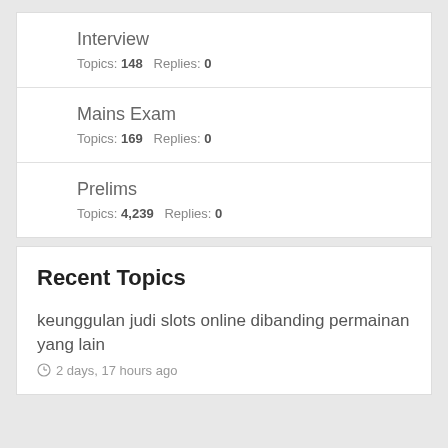Interview
Topics: 148  Replies: 0
Mains Exam
Topics: 169  Replies: 0
Prelims
Topics: 4,239  Replies: 0
Recent Topics
keunggulan judi slots online dibanding permainan yang lain
2 days, 17 hours ago